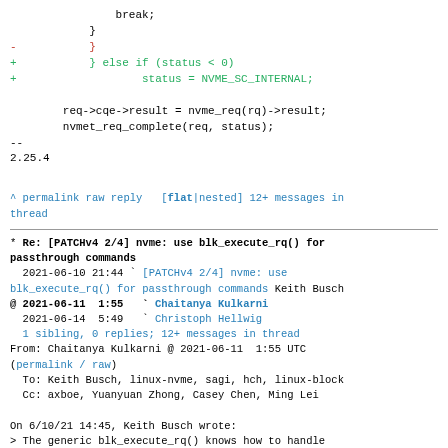break;
            }
-           }
+           } else if (status < 0)
+                   status = NVME_SC_INTERNAL;

        req->cqe->result = nvme_req(rq)->result;
        nvmet_req_complete(req, status);
--
2.25.4
^ permalink raw reply  [flat|nested] 12+ messages in thread
* Re: [PATCHv4 2/4] nvme: use blk_execute_rq() for passthrough commands
  2021-06-10 21:44  ` [PATCHv4 2/4] nvme: use blk_execute_rq() for passthrough commands Keith Busch
@ 2021-06-11  1:55    ` Chaitanya Kulkarni
  2021-06-14  5:49    ` Christoph Hellwig
  1 sibling, 0 replies; 12+ messages in thread
From: Chaitanya Kulkarni @ 2021-06-11  1:55 UTC (permalink / raw)
  To: Keith Busch, linux-nvme, sagi, hch, linux-block
  Cc: axboe, Yuanyuan Zhong, Casey Chen, Ming Lei

On 6/10/21 14:45, Keith Busch wrote:
> The generic blk_execute_rq() knows how to handle